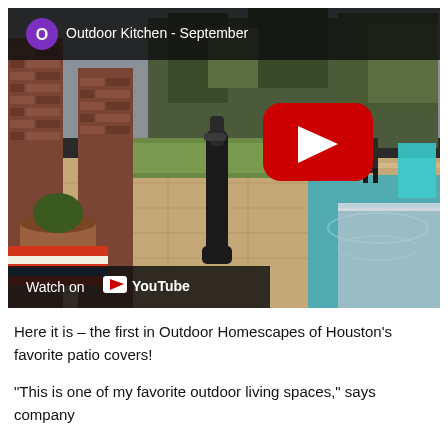[Figure (screenshot): YouTube video thumbnail showing an outdoor kitchen/patio area with a pool, brick columns, patio furniture, and a beer tap. The video is titled 'Outdoor Kitchen - September' with a purple channel icon showing 'O'. A red YouTube play button is visible in the center-right, and a 'Watch on YouTube' bar appears at the bottom left.]
Here it is – the first in Outdoor Homescapes of Houston's favorite patio covers!
“This is one of my favorite outdoor living spaces,” says company